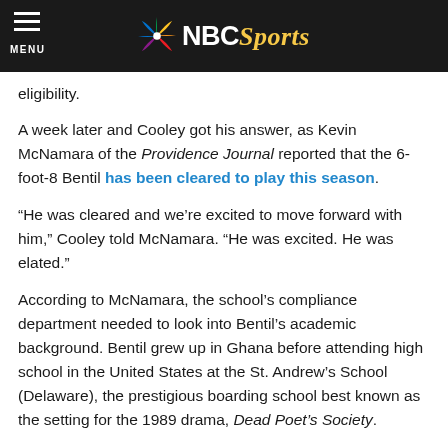NBC Sports — MENU header bar
eligibility.
A week later and Cooley got his answer, as Kevin McNamara of the Providence Journal reported that the 6-foot-8 Bentil has been cleared to play this season.
“He was cleared and we’re excited to move forward with him,” Cooley told McNamara. “He was excited. He was elated.”
According to McNamara, the school’s compliance department needed to look into Bentil’s academic background. Bentil grew up in Ghana before attending high school in the United States at the St. Andrew’s School (Delaware), the prestigious boarding school best known as the setting for the 1989 drama, Dead Poet’s Society.